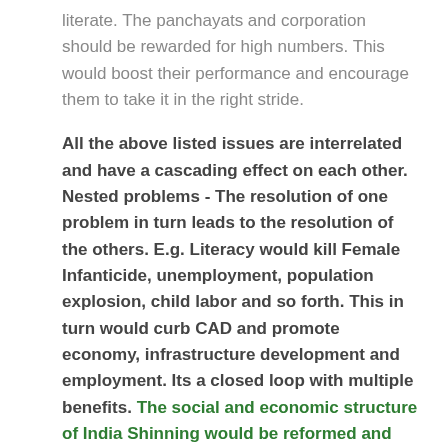literate. The panchayats and corporation should be rewarded for high numbers. This would boost their performance and encourage them to take it in the right stride.
All the above listed issues are interrelated and have a cascading effect on each other. Nested problems - The resolution of one problem in turn leads to the resolution of the others. E.g. Literacy would kill Female Infanticide, unemployment, population explosion, child labor and so forth. This in turn would curb CAD and promote economy, infrastructure development and employment. Its a closed loop with multiple benefits. The social and economic structure of India Shinning would be reformed and brought to the next level. Problems need to be attacked at grass root level. Its just that the right thinking at the right time by like minded people is what is